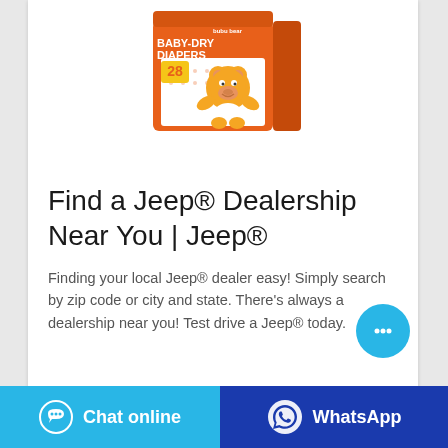[Figure (photo): Bubu Bear Baby-Dry Diapers product package, orange box with cartoon bear, count 28]
Find a Jeep® Dealership Near You | Jeep®
Finding your local Jeep® dealer easy! Simply search by zip code or city and state. There's always a dealership near you! Test drive a Jeep® today.